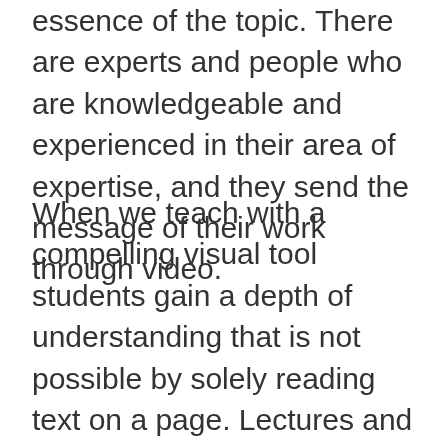essence of the topic. There are experts and people who are knowledgeable and experienced in their area of expertise, and they send the message of their work through video.
When we teach with a compelling visual tool students gain a depth of understanding that is not possible by solely reading text on a page. Lectures and lesson are enhanced with video, and student engagement is heightened. Students can see pictures of the places, items, and people they are learning about. They can make connections to their own experience, and create a picture in their mind that is more vivid,